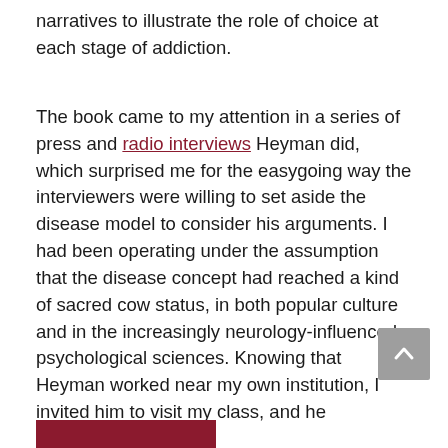narratives to illustrate the role of choice at each stage of addiction.
The book came to my attention in a series of press and radio interviews Heyman did, which surprised me for the easygoing way the interviewers were willing to set aside the disease model to consider his arguments. I had been operating under the assumption that the disease concept had reached a kind of sacred cow status, in both popular culture and in the increasingly neurology-influenced psychological sciences. Knowing that Heyman worked near my own institution, I invited him to visit my class, and he graciously agreed.